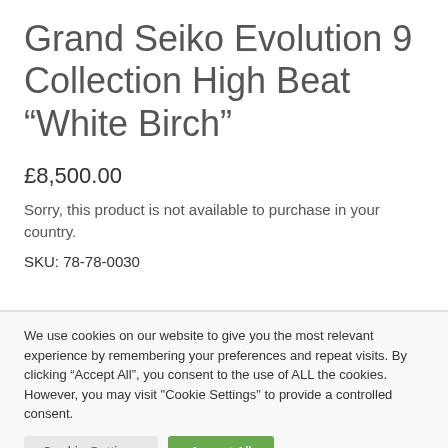Grand Seiko Evolution 9 Collection High Beat “White Birch”
£8,500.00
Sorry, this product is not available to purchase in your country.
SKU: 78-78-0030
We use cookies on our website to give you the most relevant experience by remembering your preferences and repeat visits. By clicking “Accept All”, you consent to the use of ALL the cookies. However, you may visit “Cookie Settings” to provide a controlled consent.